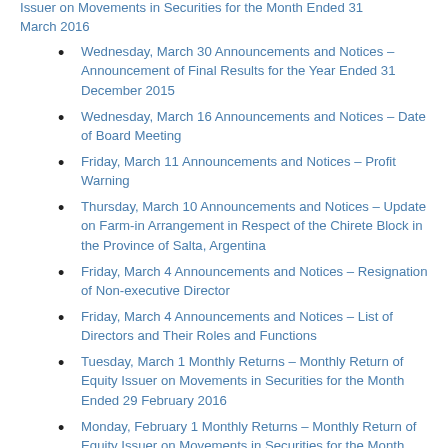Issuer on Movements in Securities for the Month Ended 31 March 2016
Wednesday, March 30 Announcements and Notices – Announcement of Final Results for the Year Ended 31 December 2015
Wednesday, March 16 Announcements and Notices – Date of Board Meeting
Friday, March 11 Announcements and Notices – Profit Warning
Thursday, March 10 Announcements and Notices – Update on Farm-in Arrangement in Respect of the Chirete Block in the Province of Salta, Argentina
Friday, March 4 Announcements and Notices – Resignation of Non-executive Director
Friday, March 4 Announcements and Notices – List of Directors and Their Roles and Functions
Tuesday, March 1 Monthly Returns – Monthly Return of Equity Issuer on Movements in Securities for the Month Ended 29 February 2016
Monday, February 1 Monthly Returns – Monthly Return of Equity Issuer on Movements in Securities for the Month